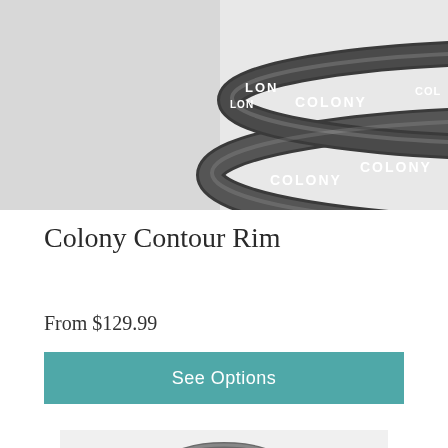[Figure (photo): Close-up photo of Colony branded bicycle rims with white COLONY text on dark gray/black rim surface, two rims visible stacked]
Colony Contour Rim
From $129.99
See Options
[Figure (photo): Partial photo of a black metal bicycle axle nut or peg component, showing knurled/threaded surface, gray background]